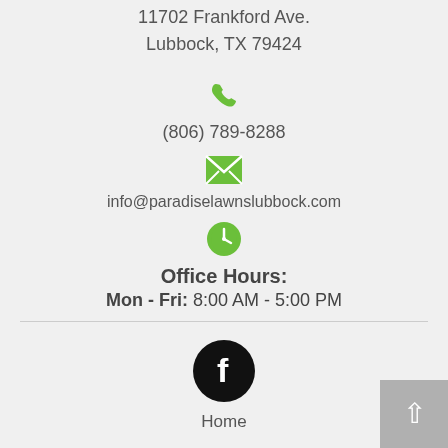11702 Frankford Ave.
Lubbock, TX 79424
[Figure (illustration): Green phone icon]
(806) 789-8288
[Figure (illustration): Green envelope/email icon]
info@paradiselawnslubbock.com
[Figure (illustration): Green clock icon]
Office Hours:
Mon - Fri: 8:00 AM - 5:00 PM
[Figure (illustration): Facebook icon in black circle]
Home